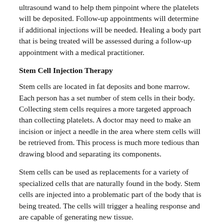ultrasound wand to help them pinpoint where the platelets will be deposited. Follow-up appointments will determine if additional injections will be needed. Healing a body part that is being treated will be assessed during a follow-up appointment with a medical practitioner.
Stem Cell Injection Therapy
Stem cells are located in fat deposits and bone marrow. Each person has a set number of stem cells in their body. Collecting stem cells requires a more targeted approach than collecting platelets. A doctor may need to make an incision or inject a needle in the area where stem cells will be retrieved from. This process is much more tedious than drawing blood and separating its components.
Stem cells can be used as replacements for a variety of specialized cells that are naturally found in the body. Stem cells are injected into a problematic part of the body that is being treated. The cells will trigger a healing response and are capable of generating new tissue.